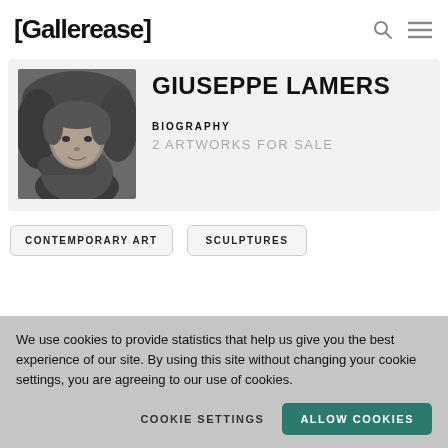[Gallerease]
[Figure (photo): Black and white portrait photo of Giuseppe Lamers, a heavyset man seated outdoors]
GIUSEPPE LAMERS
BIOGRAPHY
2 ARTWORKS FOR SALE
CONTEMPORARY ART
SCULPTURES
We use cookies to provide statistics that help us give you the best experience of our site. By using this site without changing your cookie settings, you are agreeing to our use of cookies.
COOKIE SETTINGS
ALLOW COOKIES